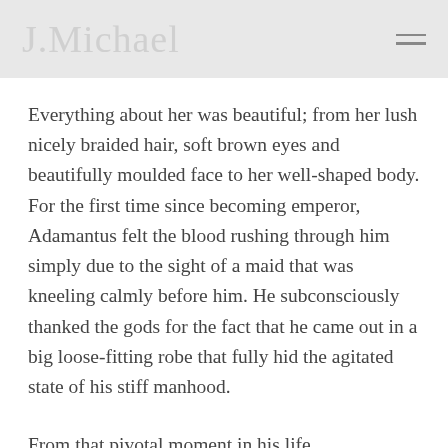J.Michael
Everything about her was beautiful; from her lush nicely braided hair, soft brown eyes and beautifully moulded face to her well-shaped body. For the first time since becoming emperor, Adamantus felt the blood rushing through him simply due to the sight of a maid that was kneeling calmly before him. He subconsciously thanked the gods for the fact that he came out in a big loose-fitting robe that fully hid the agitated state of his stiff manhood.
From that pivotal moment in his life,